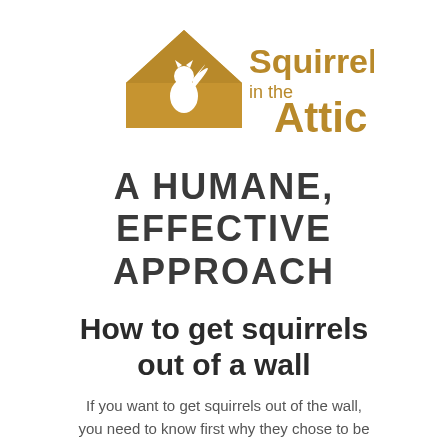[Figure (logo): Squirrels in the Attic logo: a golden/amber house silhouette with a white squirrel cutout, beside bold golden text 'Squirrels in the Attic']
A HUMANE, EFFECTIVE APPROACH
How to get squirrels out of a wall
If you want to get squirrels out of the wall, you need to know first why they chose to be